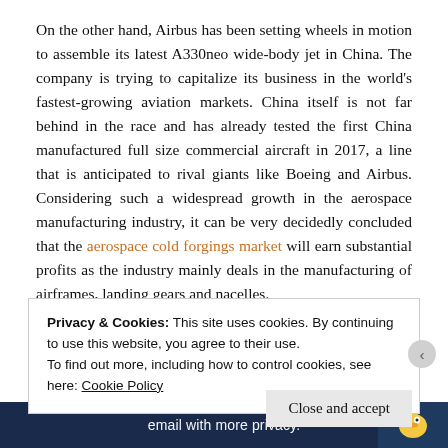On the other hand, Airbus has been setting wheels in motion to assemble its latest A330neo wide-body jet in China. The company is trying to capitalize its business in the world's fastest-growing aviation markets. China itself is not far behind in the race and has already tested the first China manufactured full size commercial aircraft in 2017, a line that is anticipated to rival giants like Boeing and Airbus. Considering such a widespread growth in the aerospace manufacturing industry, it can be very decidedly concluded that the aerospace cold forgings market will earn substantial profits as the industry mainly deals in the manufacturing of airframes, landing gears and nacelles.
Advancement in forging technology has helped in the expansion of shapes, sizes and properties available in forged products to meet the
Privacy & Cookies: This site uses cookies. By continuing to use this website, you agree to their use.
To find out more, including how to control cookies, see here: Cookie Policy
Close and accept
[Figure (other): Bottom banner advertisement with text 'email with more privacy.' and a duck icon on dark blue background]